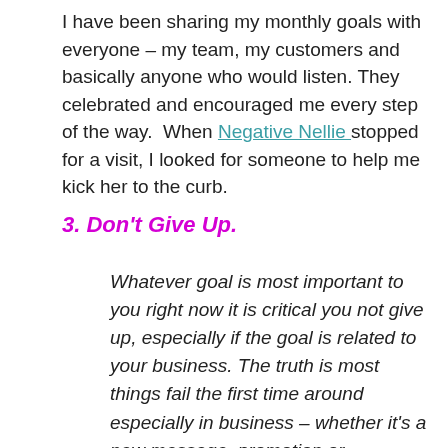I have been sharing my monthly goals with everyone – my team, my customers and basically anyone who would listen. They celebrated and encouraged me every step of the way.  When Negative Nellie stopped for a visit, I looked for someone to help me kick her to the curb.
3. Don't Give Up.
Whatever goal is most important to you right now it is critical you not give up, especially if the goal is related to your business. The truth is most things fail the first time around especially in business – whether it's a new message, promotion or marketing campaign. It is NORMAL.  Everyone falls down. Your choice (and the choice which defines those who succeed) is whether you get back up.  Everything is possible when you make the choice to succeed. No matter what happens, keep going.